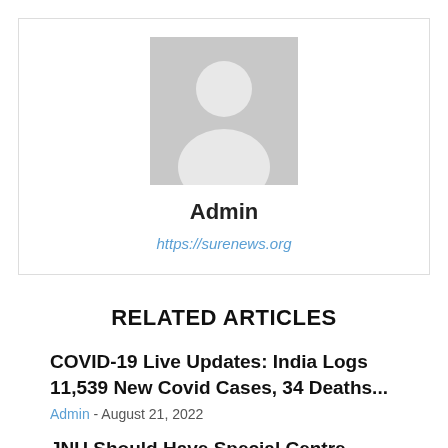[Figure (illustration): Generic user avatar placeholder with grey background showing silhouette of a person]
Admin
https://surenews.org
RELATED ARTICLES
COVID-19 Live Updates: India Logs 11,539 New Covid Cases, 34 Deaths...
Admin - August 21, 2022
JNU Should Have Special Centre